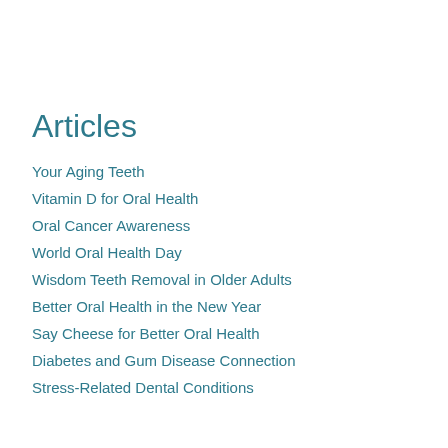Articles
Your Aging Teeth
Vitamin D for Oral Health
Oral Cancer Awareness
World Oral Health Day
Wisdom Teeth Removal in Older Adults
Better Oral Health in the New Year
Say Cheese for Better Oral Health
Diabetes and Gum Disease Connection
Stress-Related Dental Conditions